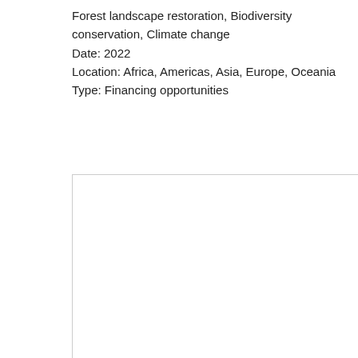Forest landscape restoration, Biodiversity conservation, Climate change
Date: 2022
Location: Africa, Americas, Asia, Europe, Oceania
Type: Financing opportunities
[Figure (other): Empty bordered box/frame with light gray border, no content inside.]